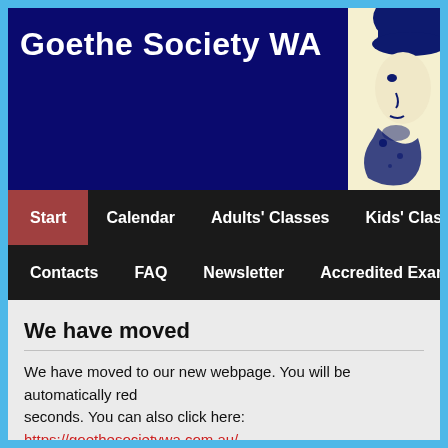Goethe Society WA
[Figure (illustration): Partial illustration of Goethe's face profile in dark blue on a cream/yellow background, positioned in the top-right corner of the banner]
Start | Calendar | Adults' Classes | Kids' Classes | Contacts | FAQ | Newsletter | Accredited Exams
We have moved
We have moved to our new webpage. You will be automatically red... seconds. You can also click here: https://goethesocietywa.com.au/